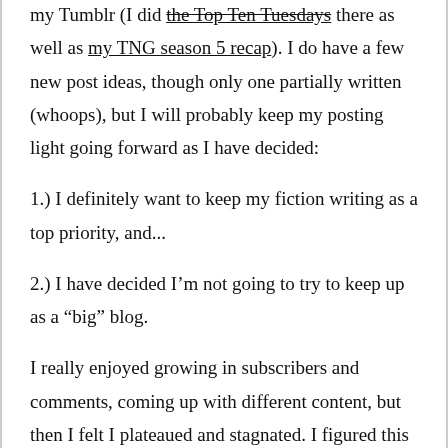my Tumblr (I did the Top Ten Tuesdays there as well as my TNG season 5 recap). I do have a few new post ideas, though only one partially written (whoops), but I will probably keep my posting light going forward as I have decided:
1.) I definitely want to keep my fiction writing as a top priority, and...
2.) I have decided I’m not going to try to keep up as a “big” blog.
I really enjoyed growing in subscribers and comments, coming up with different content, but then I felt I plateaued and stagnated. I figured this